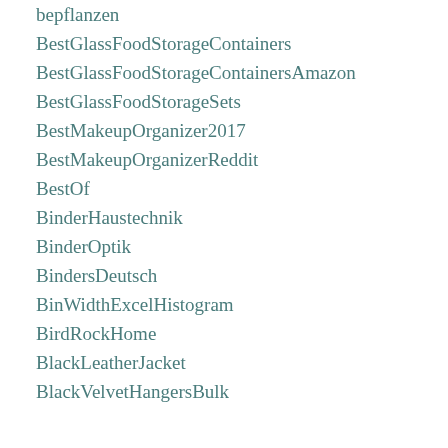bepflanzen
BestGlassFoodStorageContainers
BestGlassFoodStorageContainersAmazon
BestGlassFoodStorageSets
BestMakeupOrganizer2017
BestMakeupOrganizerReddit
BestOf
BinderHaustechnik
BinderOptik
BindersDeutsch
BinWidthExcelHistogram
BirdRockHome
BlackLeatherJacket
BlackVelvetHangersBulk